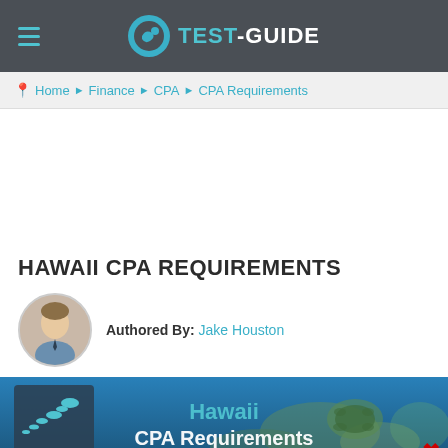TEST-GUIDE
Home ▶ Finance ▶ CPA ▶ CPA Requirements
HAWAII CPA REQUIREMENTS
Authored By: Jake Houston
[Figure (illustration): Hawaii CPA Requirements banner with underwater/coral reef background and Hawaii map icon. Text reads 'Hawaii CPA Requirements'.]